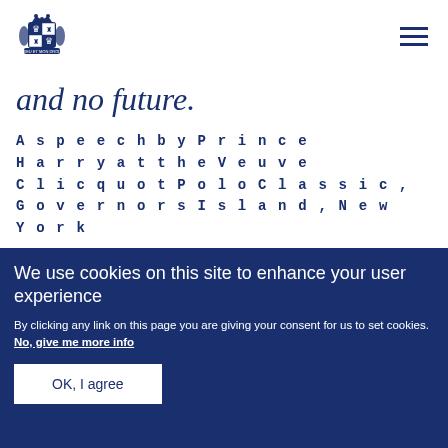[Figure (logo): UK Royal coat of arms / crest in dark blue]
and no future.
A speech by Prince Harry at the Veuve Clicquot Polo Classic, Governors Island, New York
We use cookies on this site to enhance your user experience
By clicking any link on this page you are giving your consent for us to set cookies. No, give me more info
OK, I agree